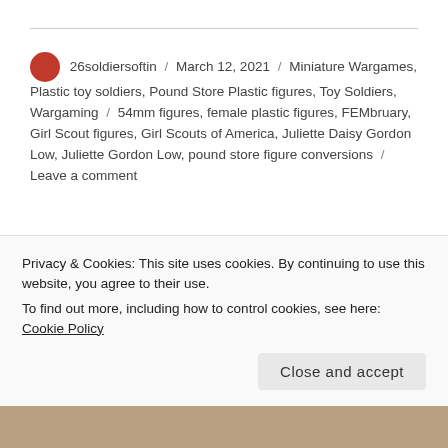26soldiersoftin / March 12, 2021 / Miniature Wargames, Plastic toy soldiers, Pound Store Plastic figures, Toy Soldiers, Wargaming / 54mm figures, female plastic figures, FEMbruary, Girl Scout figures, Girl Scouts of America, Juliette Daisy Gordon Low, Juliette Gordon Low, pound store figure conversions / Leave a comment
FEMBruary BMC Plastic Army Women as the
Privacy & Cookies: This site uses cookies. By continuing to use this website, you agree to their use.
To find out more, including how to control cookies, see here: Cookie Policy